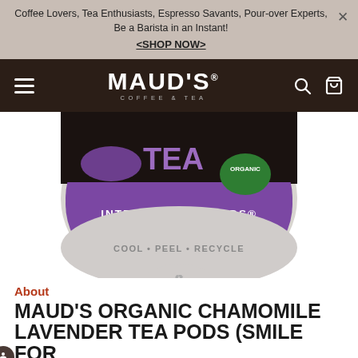Coffee Lovers, Tea Enthusiasts, Espresso Savants, Pour-over Experts, Be a Barista in an Instant! <SHOP NOW>
[Figure (logo): Maud's Coffee & Tea logo in white text on dark brown navigation bar with hamburger menu, search icon, and bag icon]
[Figure (photo): Close-up of a K-cup pod with purple label reading INTELLIGENT BLENDS, green ORGANIC badge, text COOL PEEL RECYCLE, and a recycle symbol. Dark background at top.]
About
MAUD'S ORGANIC CHAMOMILE LAVENDER TEA PODS (SMILE FOR